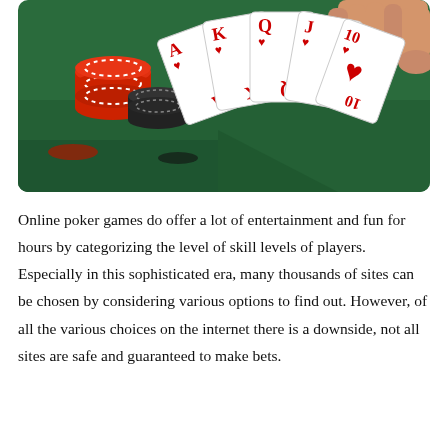[Figure (photo): A hand holding a royal flush of hearts (A, K, Q, J, 10) playing cards against a green felt casino table with red and black poker chips stacked in the background.]
Online poker games do offer a lot of entertainment and fun for hours by categorizing the level of skill levels of players. Especially in this sophisticated era, many thousands of sites can be chosen by considering various options to find out. However, of all the various choices on the internet there is a downside, not all sites are safe and guaranteed to make bets.